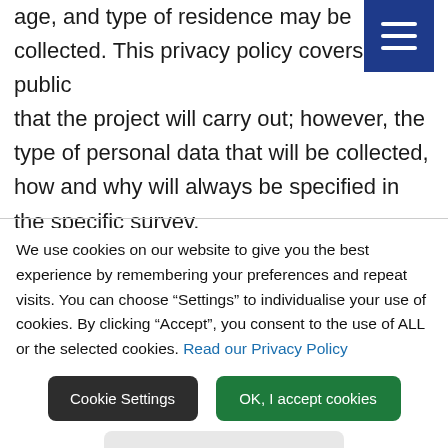age, and type of residence may be collected. This privacy policy covers the public that the project will carry out; however, the type of personal data that will be collected, how and why will always be specified in the specific survey.
We use cookies on our website to give you the best experience by remembering your preferences and repeat visits. You can choose "Settings" to individualise your use of cookies. By clicking "Accept", you consent to the use of ALL or the selected cookies. Read our Privacy Policy